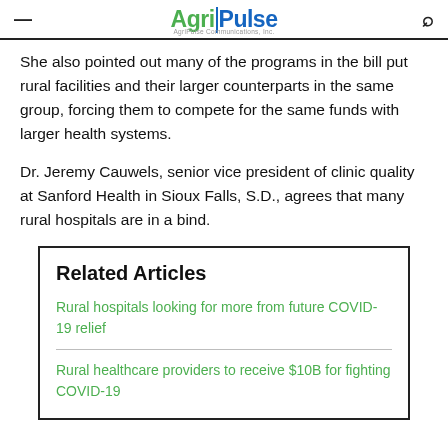Agri-Pulse
She also pointed out many of the programs in the bill put rural facilities and their larger counterparts in the same group, forcing them to compete for the same funds with larger health systems.
Dr. Jeremy Cauwels, senior vice president of clinic quality at Sanford Health in Sioux Falls, S.D., agrees that many rural hospitals are in a bind.
Related Articles
Rural hospitals looking for more from future COVID-19 relief
Rural healthcare providers to receive $10B for fighting COVID-19